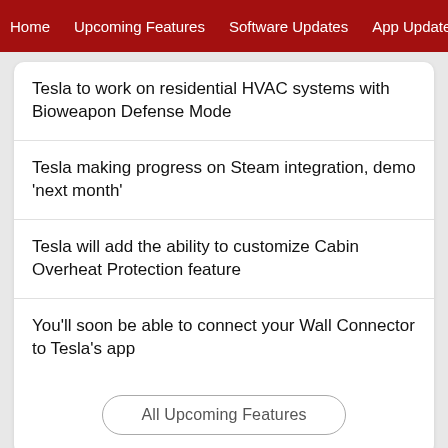Home  Upcoming Features  Software Updates  App Update
Tesla to work on residential HVAC systems with Bioweapon Defense Mode
Tesla making progress on Steam integration, demo 'next month'
Tesla will add the ability to customize Cabin Overheat Protection feature
You'll soon be able to connect your Wall Connector to Tesla's app
All Upcoming Features